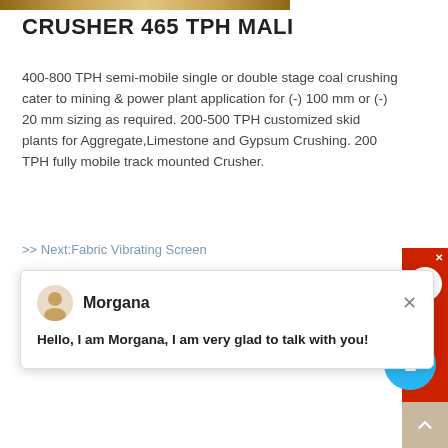[Figure (photo): Partial top of crusher machine image, cropped at top of page]
CRUSHER 465 TPH MALI
400-800 TPH semi-mobile single or double stage coal crushing cater to mining & power plant application for (-) 100 mm or (-) 20 mm sizing as required. 200-500 TPH customized skid plants for Aggregate,Limestone and Gypsum Crushing. 200 TPH fully mobile track mounted Crusher.
[Figure (screenshot): Chat popup with agent named Morgana saying: Hello, I am Morgana, I am very glad to talk with you!]
>> Next:Fabric Vibrating Screen